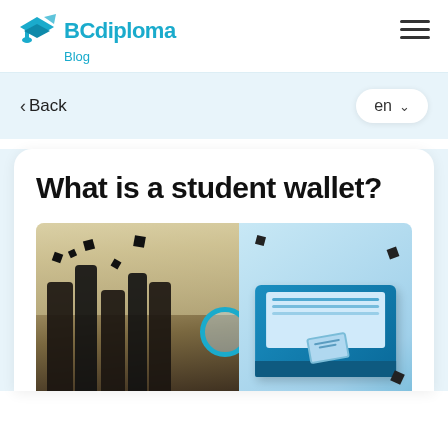BCdiploma Blog
< Back
en
What is a student wallet?
[Figure (photo): Left half: graduation photo of students in black gowns and caps tossing mortarboards in the air in front of a classical building. Right half: digital illustration of a laptop with a diploma/certificate and blockchain elements, with floating graduation caps.]